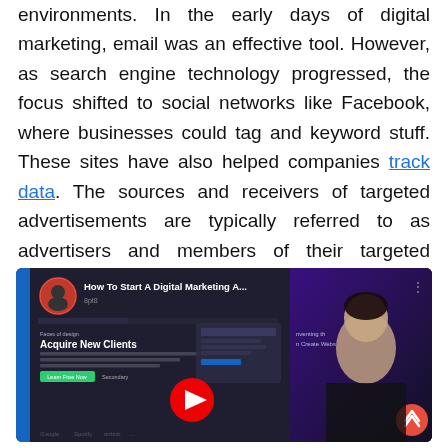environments. In the early days of digital marketing, email was an effective tool. However, as search engine technology progressed, the focus shifted to social networks like Facebook, where businesses could tag and keyword stuff. These sites have also helped companies track data. The sources and receivers of targeted advertisements are typically referred to as advertisers and members of their targeted audience.
[Figure (screenshot): YouTube video thumbnail for 'How To Start A Digital Marketing A...' showing a dark-themed digital marketing website interface with 'Acquire New Clients' text, a play button, and a person on the right side]